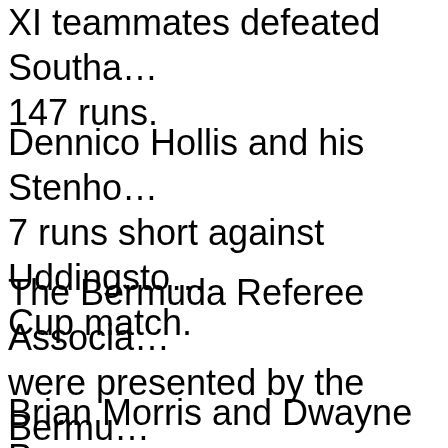XI teammates defeated Southa… 147 runs.
Dennico Hollis and his Stenho… 7 runs short against Uddingsto… Cup match.
The Bermuda Referee Associa… were presented by the Bermu… Referee's Committee.
Brian Morris and Dwayne Pear… representing the U.S. Senior C…